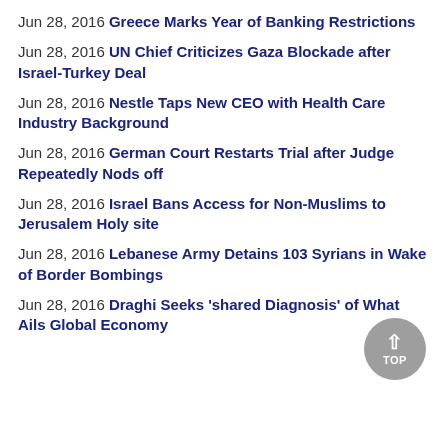Jun 28, 2016 Greece Marks Year of Banking Restrictions
Jun 28, 2016 UN Chief Criticizes Gaza Blockade after Israel-Turkey Deal
Jun 28, 2016 Nestle Taps New CEO with Health Care Industry Background
Jun 28, 2016 German Court Restarts Trial after Judge Repeatedly Nods off
Jun 28, 2016 Israel Bans Access for Non-Muslims to Jerusalem Holy site
Jun 28, 2016 Lebanese Army Detains 103 Syrians in Wake of Border Bombings
Jun 28, 2016 Draghi Seeks 'shared Diagnosis' of What Ails Global Economy